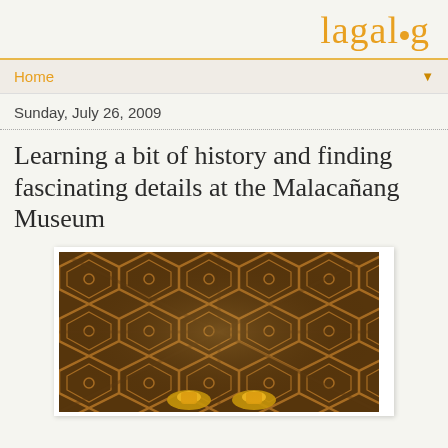lagalog
Home
Sunday, July 26, 2009
Learning a bit of history and finding fascinating details at the Malacañang Museum
[Figure (photo): Photograph of ornate wooden coffered ceiling with hexagonal and triangular patterns, warm amber lighting, with golden decorative fixtures visible at bottom center]